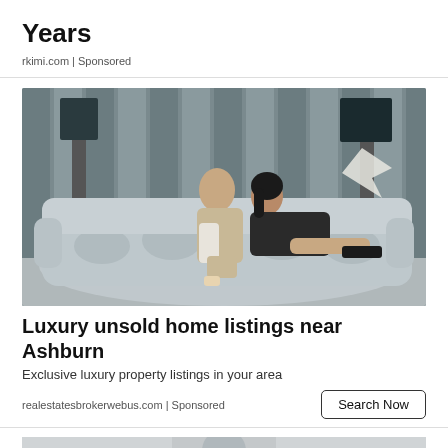Years
rkimi.com | Sponsored
[Figure (photo): A couple sitting on a luxury tufted velvet sofa in an elegant interior with floor lamps and grey paneled walls. The man in a beige suit sits upright while the woman in black reclines against him.]
Luxury unsold home listings near Ashburn
Exclusive luxury property listings in your area
realestatesbrokerwebus.com | Sponsored
[Figure (photo): Partial image of a person in professional attire, cropped at bottom of page.]